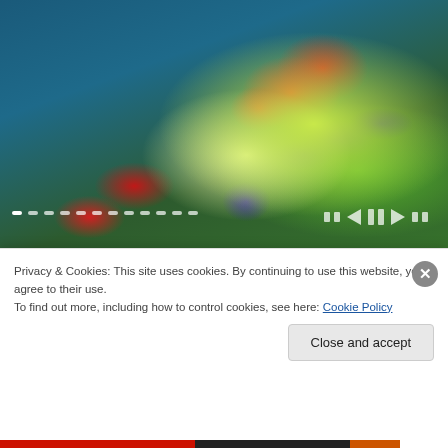[Figure (photo): Hero photo of a plate with colorful fruits and vegetables including strawberries, blueberries, blackberries, raspberries, avocado slices, and leafy greens on a blue wooden table]
14 Seasonal Foods to Ease Eczema Inflammation
[Figure (photo): Small thumbnail of a person's face/head]
The 5 Books To Read To
Privacy & Cookies: This site uses cookies. By continuing to use this website, you agree to their use.
To find out more, including how to control cookies, see here: Cookie Policy
Close and accept